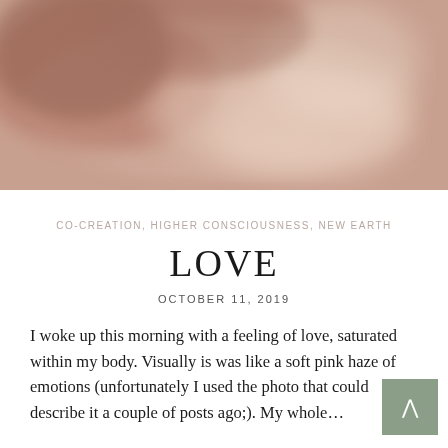[Figure (photo): Warm pink and peach-toned dramatic cloud formation photograph filling the top portion of the page]
CO-CREATION, HIGHER CONSCIOUSNESS, NEW EARTH
LOVE
OCTOBER 11, 2019
I woke up this morning with a feeling of love, saturated within my body. Visually is was like a soft pink haze of emotions (unfortunately I used the photo that could describe it a couple of posts ago;). My whole…